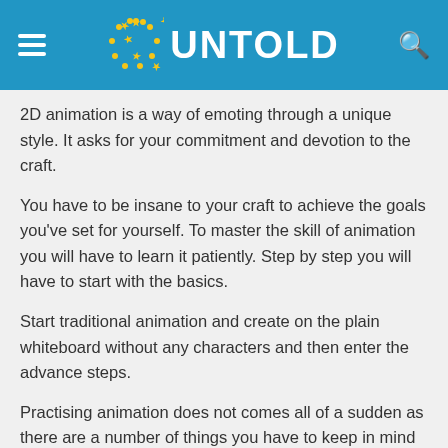UNTOLD
2D animation is a way of emoting through a unique style. It asks for your commitment and devotion to the craft.
You have to be insane to your craft to achieve the goals you've set for yourself. To master the skill of animation you will have to learn it patiently. Step by step you will have to start with the basics.
Start traditional animation and create on the plain whiteboard without any characters and then enter the advance steps.
Practising animation does not comes all of a sudden as there are a number of things you have to keep in mind when you step into this field.
The animation itself is the art of bringing life to any object known or unknown by the means of...